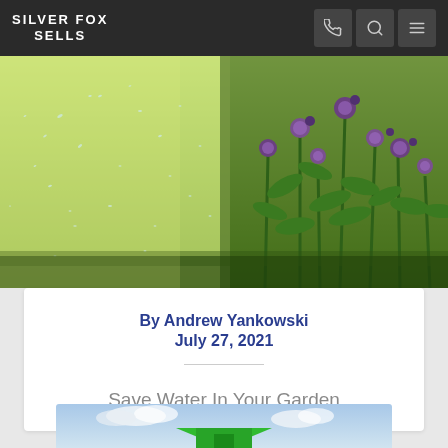SILVER FOX SELLS
[Figure (photo): Garden scene with water sprinkler spraying over green grass and purple flowering plants in foreground]
By Andrew Yankowski
July 27, 2021
Save Water In Your Garden
[Figure (photo): Partial view of second article card with blue sky, clouds, and green house icon at bottom]